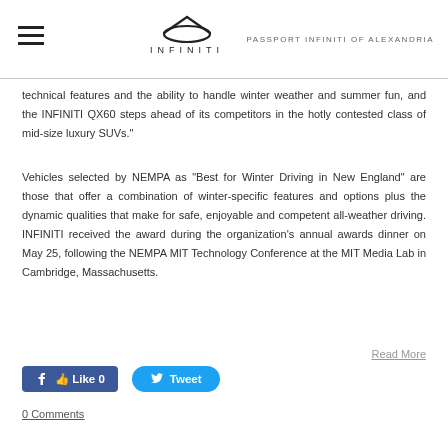PASSPORT INFINITI OF ALEXANDRIA
technical features and the ability to handle winter weather and summer fun, and the INFINITI QX60 steps ahead of its competitors in the hotly contested class of mid-size luxury SUVs."
Vehicles selected by NEMPA as "Best for Winter Driving in New England" are those that offer a combination of winter-specific features and options plus the dynamic qualities that make for safe, enjoyable and competent all-weather driving. INFINITI received the award during the organization's annual awards dinner on May 25, following the NEMPA MIT Technology Conference at the MIT Media Lab in Cambridge, Massachusetts.
Read More
[Figure (infographic): Facebook Like button showing '0' likes and a Twitter Tweet button]
0 Comments